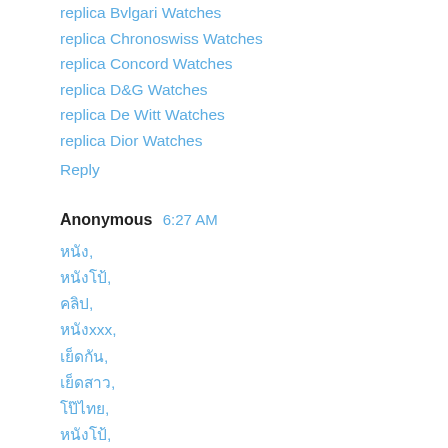replica Bvlgari Watches
replica Chronoswiss Watches
replica Concord Watches
replica D&G Watches
replica De Witt Watches
replica Dior Watches
Reply
Anonymous  6:27 AM
หนัง,
หนังโป้,
คลิป,
หนังxxx,
เย็ดกัน,
เย็ดสาว,
โป๊ไทย,
หนังโป้,
หนังโป้,
หนังโป๊,
หนังโป้,